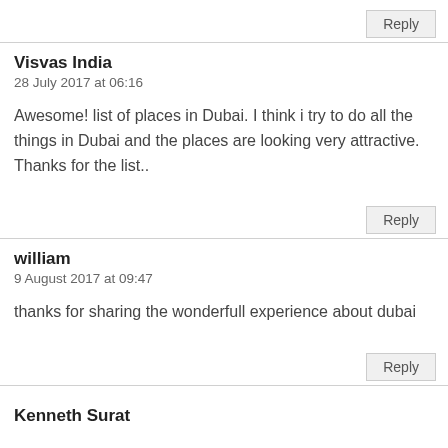Reply
Visvas India
28 July 2017 at 06:16
Awesome! list of places in Dubai. I think i try to do all the things in Dubai and the places are looking very attractive. Thanks for the list..
Reply
william
9 August 2017 at 09:47
thanks for sharing the wonderfull experience about dubai
Reply
Kenneth Surat